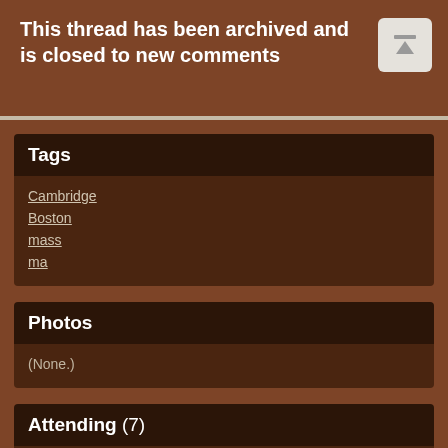This thread has been archived and is closed to new comments
Tags
Cambridge
Boston
mass
ma
Photos
(None.)
Attending (7)
bryghtrose